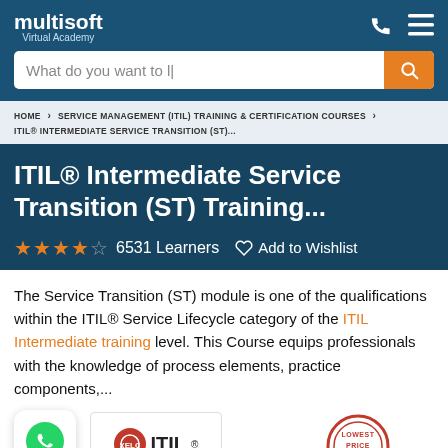multisoft Virtual Academy
What do you want to l|
HOME > SERVICE MANAGEMENT (ITIL) TRAINING & CERTIFICATION COURSES > ITIL® INTERMEDIATE SERVICE TRANSITION (ST)...
ITIL® Intermediate Service Transition (ST) Training...
★★★★☆  6531 Learners  ♡ Add to Wishlist
The Service Transition (ST) module is one of the qualifications within the ITIL® Service Lifecycle category of the ITIL Intermediate training level. This Course equips professionals with the knowledge of process elements, practice components,...
[Figure (logo): WhatsApp contact bubble icon]
[Figure (logo): ITIL logo]
[Figure (logo): LOWEST PRICE badge]